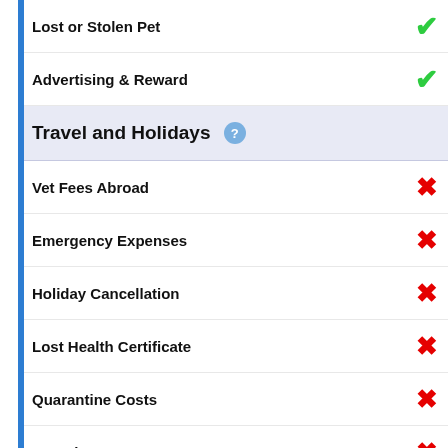Lost or Stolen Pet ✓
Advertising & Reward ✓
Travel and Holidays
Vet Fees Abroad ✗
Emergency Expenses ✗
Holiday Cancellation ✗
Lost Health Certificate ✗
Quarantine Costs ✗
Worming ✗
Emergency Care
Boarding Costs ✗
Pet Minder ✗
Other Benefits